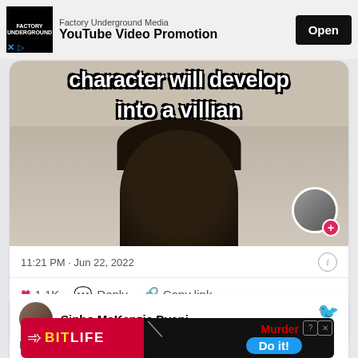[Figure (screenshot): Ad banner for Factory Underground Media YouTube Video Promotion with Open button]
[Figure (screenshot): TikTok/Twitter video screenshot showing text 'character will develop into a villian' with person wearing black beanie hat]
11:21 PM · Jun 22, 2022
1.1K  Reply  Copy link
Read 1 reply
Sipho McKenzie Dyani
Reply
[Figure (screenshot): BitLife advertisement showing Murder Do it! promotion]